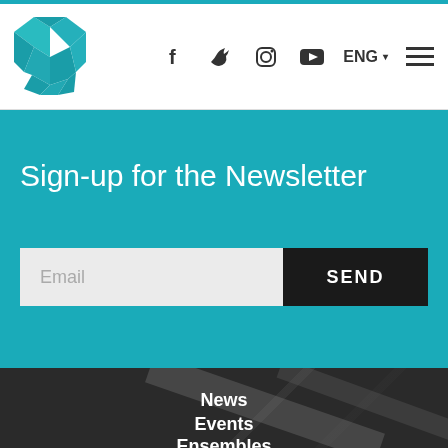[Figure (logo): Stylized letter M logo in teal/green color, polygon faceted style]
f  Twitter  Instagram  YouTube
ENG ▾
Sign-up for the Newsletter
Email
SEND
News
Events
Ensembles